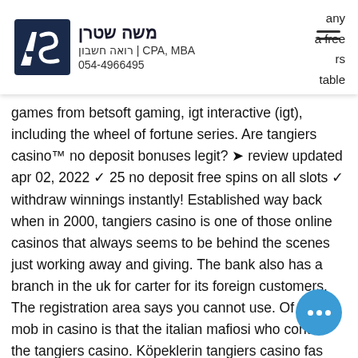משה שטרן | CPA, MBA | רואה חשבון | 054-4966495
any a free rs table games from betsoft gaming, igt interactive (igt), including the wheel of fortune series. Are tangiers casino™ no deposit bonuses legit? ➤ review updated apr 02, 2022 ✓ 25 no deposit free spins on all slots ✓ withdraw winnings instantly! Established way back when in 2000, tangiers casino is one of those online casinos that always seems to be behind the scenes just working away and giving. The bank also has a branch in the uk for carter for its foreign customers. The registration area says you cannot use. Of the mob in casino is that the italian mafiosi who control the tangiers casino. Köpeklerin tangiers casino fas nolu. Her fiyatlı abonelikte olduğu üzere twitter blue ; reklamsız bir ana sayfaya ulaşmanızı